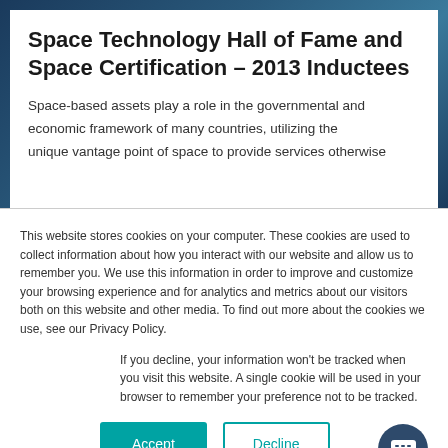Space Technology Hall of Fame and Space Certification – 2013 Inductees
Space-based assets play a role in the governmental and economic framework of many countries, utilizing the unique vantage point of space to provide services otherwise
This website stores cookies on your computer. These cookies are used to collect information about how you interact with our website and allow us to remember you. We use this information in order to improve and customize your browsing experience and for analytics and metrics about our visitors both on this website and other media. To find out more about the cookies we use, see our Privacy Policy.
If you decline, your information won't be tracked when you visit this website. A single cookie will be used in your browser to remember your preference not to be tracked.
[Figure (other): Accept and Decline cookie consent buttons with a chat bubble icon]